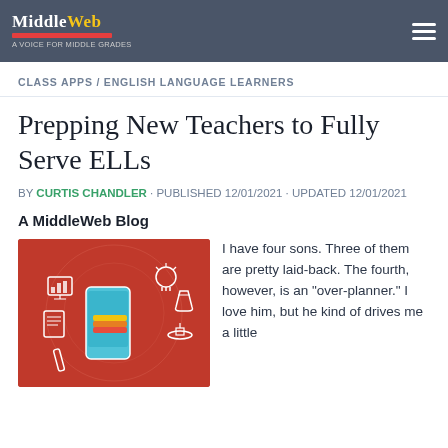MiddleWeb
CLASS APPS / ENGLISH LANGUAGE LEARNERS
Prepping New Teachers to Fully Serve ELLs
BY CURTIS CHANDLER · PUBLISHED 12/01/2021 · UPDATED 12/01/2021
A MiddleWeb Blog
[Figure (illustration): Orange background illustration of a hand holding a smartphone with floating education icons including a lightbulb, beaker, graduation cap, chart, and books.]
I have four sons. Three of them are pretty laid-back. The fourth, however, is an “over-planner.” I love him, but he kind of drives me a little